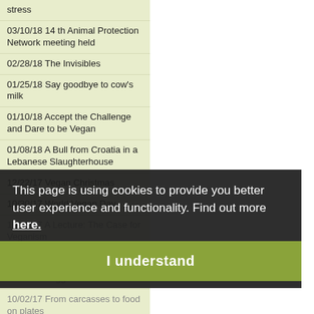stress
03/10/18 14 th Animal Protection Network meeting held
02/28/18 The Invisibles
01/25/18 Say goodbye to cow's milk
01/10/18 Accept the Challenge and Dare to be Vegan
01/08/18 A Bull from Croatia in a Lebanese Slaughterhouse
12/22/17 Vegan Christmas
10/30/17 World Vegan Day
10/16/17 A Lecture: The Case for Veganism
10/08/17 Invisible Dimple
10/03/17 Veggie Picnic at ...
10/02/17 From carcasses to food on plates
06/20/17 Igor Barber Veganism
06/12/17 VeggieFair
05/08/17 Milk: Disclosure of Children Myths...
This page is using cookies to provide you better user experience and functionality. Find out more here.
I understand